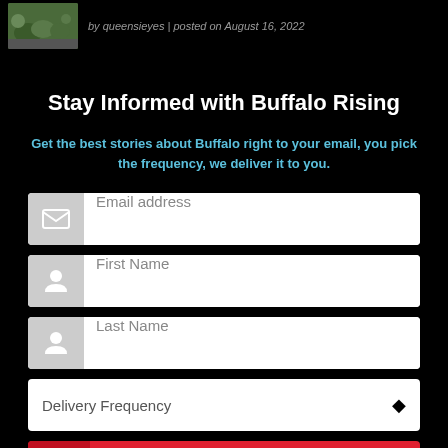[Figure (photo): Thumbnail image of garden/landscape, green plants and stones]
by queensieyes | posted on August 16, 2022
Stay Informed with Buffalo Rising
Get the best stories about Buffalo right to your email, you pick the frequency, we deliver it to you.
Email address
First Name
Last Name
Delivery Frequency
Update Now